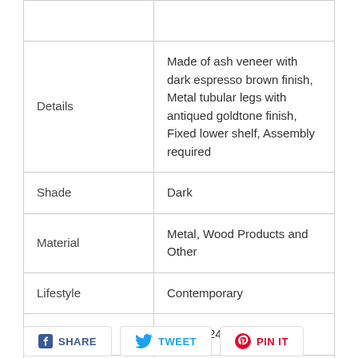| Attribute | Value |
| --- | --- |
| Details | Made of ash veneer with dark espresso brown finish, Metal tubular legs with antiqued goldtone finish, Fixed lower shelf, Assembly required |
| Shade | Dark |
| Material | Metal, Wood Products and Other |
| Lifestyle | Contemporary |
| Dimensions | 24"W x 24"D x 24"H |
| Weight | 26.46 |
SHARE  TWEET  PIN IT